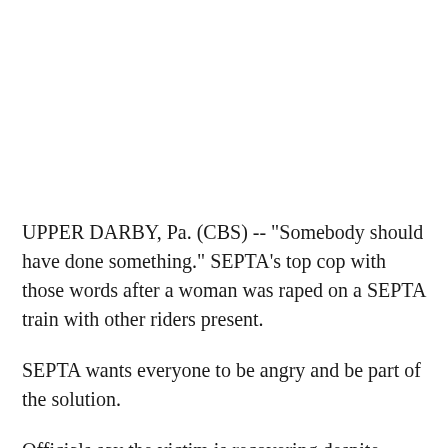UPPER DARBY, Pa. (CBS) -- "Somebody should have done something." SEPTA's top cop with those words after a woman was raped on a SEPTA train with other riders present.
SEPTA wants everyone to be angry and be part of the solution.
Officials say the victim is recovering despite